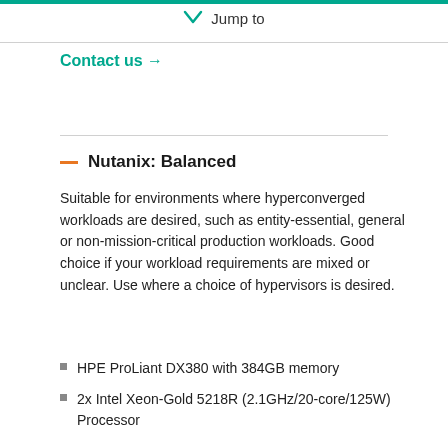Jump to
Contact us →
— Nutanix: Balanced
Suitable for environments where hyperconverged workloads are desired, such as entity-essential, general or non-mission-critical production workloads. Good choice if your workload requirements are mixed or unclear. Use where a choice of hypervisors is desired.
HPE ProLiant DX380 with 384GB memory
2x Intel Xeon-Gold 5218R (2.1GHz/20-core/125W) Processor